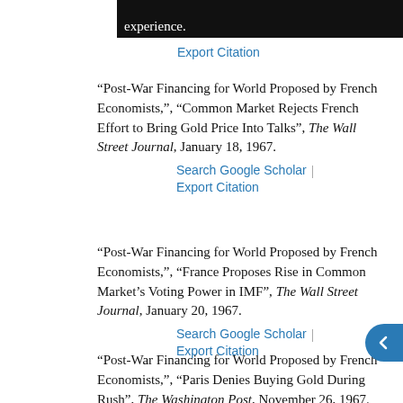experience.
Export Citation
“Post-War Financing for World Proposed by French Economists,”, “Common Market Rejects French Effort to Bring Gold Price Into Talks”, The Wall Street Journal, January 18, 1967.
Search Google Scholar | Export Citation
“Post-War Financing for World Proposed by French Economists,”, “France Proposes Rise in Common Market’s Voting Power in IMF”, The Wall Street Journal, January 20, 1967.
Search Google Scholar | Export Citation
“Post-War Financing for World Proposed by French Economists,”, “Paris Denies Buying Gold During Rush”, The Washington Post, November 26, 1967.